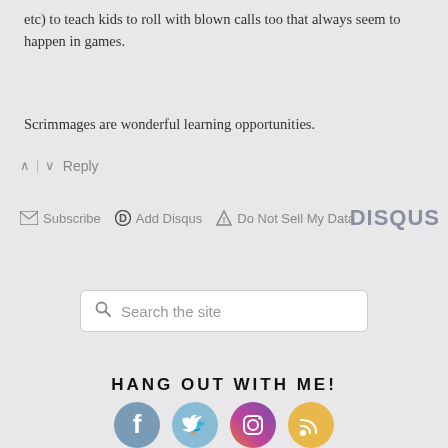etc) to teach kids to roll with blown calls too that always seem to happen in games.
Scrimmages are wonderful learning opportunities.
^ | v  Reply
Subscribe  Add Disqus  Do Not Sell My Data  DISQUS
[Figure (screenshot): Search box with placeholder text 'Search the site']
HANG OUT WITH ME!
[Figure (infographic): Social media icons: Facebook (blue-grey circle), Twitter (light blue circle), Instagram (purple-pink circle), RSS (yellow-orange circle)]